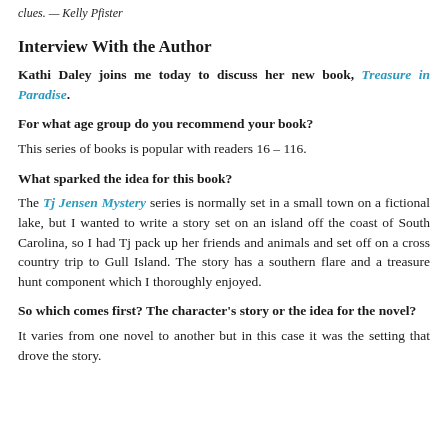clues. — Kelly Pfister
Interview With the Author
Kathi Daley joins me today to discuss her new book, Treasure in Paradise.
For what age group do you recommend your book?
This series of books is popular with readers 16 – 116.
What sparked the idea for this book?
The Tj Jensen Mystery series is normally set in a small town on a fictional lake, but I wanted to write a story set on an island off the coast of South Carolina, so I had Tj pack up her friends and animals and set off on a cross country trip to Gull Island. The story has a southern flare and a treasure hunt component which I thoroughly enjoyed.
So which comes first? The character's story or the idea for the novel?
It varies from one novel to another but in this case it was the setting that drove the story.